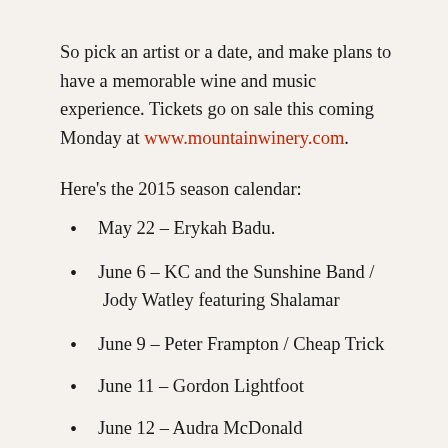So pick an artist or a date, and make plans to have a memorable wine and music experience. Tickets go on sale this coming Monday at www.mountainwinery.com.
Here's the 2015 season calendar:
May 22 – Erykah Badu.
June 6 – KC and the Sunshine Band / Jody Watley featuring Shalamar
June 9 – Peter Frampton / Cheap Trick
June 11 – Gordon Lightfoot
June 12 – Audra McDonald
June 14 – Paul Rodgers